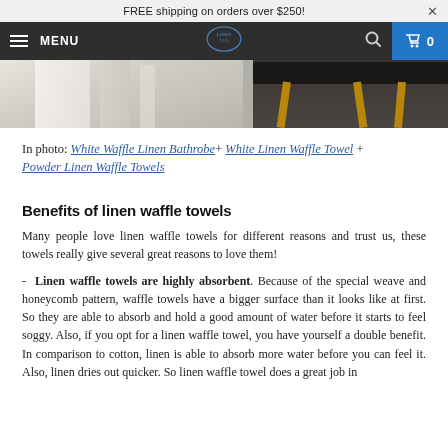FREE shipping on orders over $250!
[Figure (screenshot): E-commerce website navigation bar with hamburger menu, MENU text, Linen Tales logo, search icon, and cart icon showing 0 items]
[Figure (photo): Photo strip showing two images: left image of white waffle linen bathrobe and towels in a bright bathroom, right image showing a dark table with wooden legs]
In photo: White Waffle Linen Bathrobe + White Linen Waffle Towel + Powder Linen Waffle Towels
Benefits of linen waffle towels
Many people love linen waffle towels for different reasons and trust us, these towels really give several great reasons to love them!
- Linen waffle towels are highly absorbent. Because of the special weave and honeycomb pattern, waffle towels have a bigger surface than it looks like at first. So they are able to absorb and hold a good amount of water before it starts to feel soggy. Also, if you opt for a linen waffle towel, you have yourself a double benefit. In comparison to cotton, linen is able to absorb more water before you can feel it. Also, linen dries out quicker. So linen waffle towel does a great job in